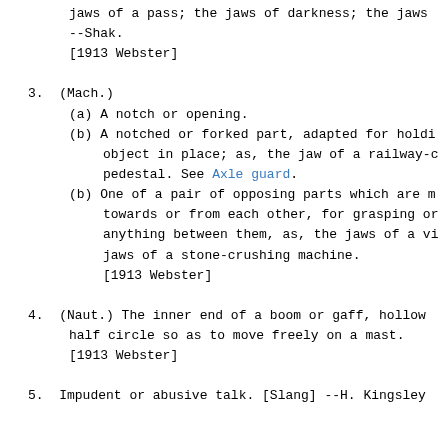jaws of a pass; the jaws of darkness; the jaws
--Shak.
[1913 Webster]
3. (Mach.)
(a) A notch or opening.
(b) A notched or forked part, adapted for holdi object in place; as, the jaw of a railway-c pedestal. See Axle guard.
(b) One of a pair of opposing parts which are m towards or from each other, for grasping or anything between them, as, the jaws of a vi jaws of a stone-crushing machine.
[1913 Webster]
4. (Naut.) The inner end of a boom or gaff, hollow half circle so as to move freely on a mast.
[1913 Webster]
5. Impudent or abusive talk. [Slang] --H. Kingsley